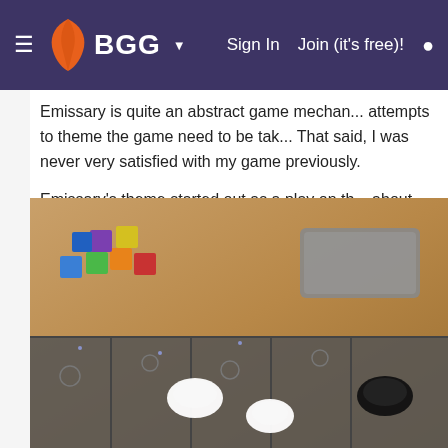BGG — Sign In  Join (it's free)!
Emissary is quite an abstract game mecha... attempts to theme the game need to be tak... That said, I was never very satisfied with my game previously.
Emissary's theme started out as a play on th... about being from the land of purple and re... Emissary's to gain influence among various... worked. From there I was tinkering ideas fo... theme or alternatively some terrestrial fantas...
[Figure (photo): Board game components: colorful cubes, grey tiles, white and black dome-shaped pieces on a dark game board]